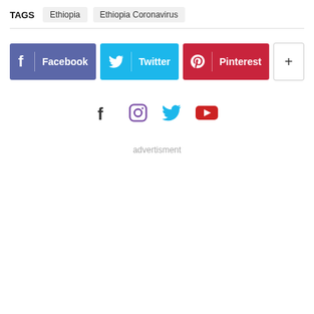TAGS  Ethiopia  Ethiopia Coronavirus
[Figure (infographic): Social share buttons: Facebook (blue-purple), Twitter (cyan), Pinterest (red), and a plus/more button (white with border)]
[Figure (infographic): Social media icon row: Facebook (dark), Instagram (purple outline), Twitter (blue), YouTube (red)]
advertisment